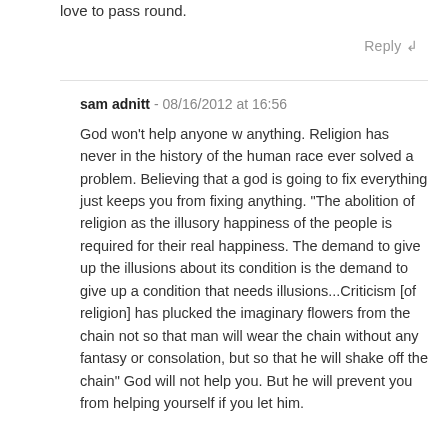love to pass round.
Reply
sam adnitt - 08/16/2012 at 16:56
God won't help anyone w anything. Religion has never in the history of the human race ever solved a problem. Believing that a god is going to fix everything just keeps you from fixing anything. "The abolition of religion as the illusory happiness of the people is required for their real happiness. The demand to give up the illusions about its condition is the demand to give up a condition that needs illusions...Criticism [of religion] has plucked the imaginary flowers from the chain not so that man will wear the chain without any fantasy or consolation, but so that he will shake off the chain" God will not help you. But he will prevent you from helping yourself if you let him.